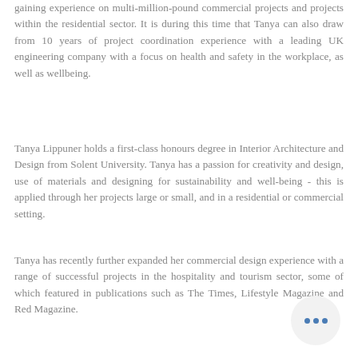gaining experience on multi-million-pound commercial projects and projects within the residential sector. It is during this time that Tanya can also draw from 10 years of project coordination experience with a leading UK engineering company with a focus on health and safety in the workplace, as well as wellbeing.
Tanya Lippuner holds a first-class honours degree in Interior Architecture and Design from Solent University. Tanya has a passion for creativity and design, use of materials and designing for sustainability and well-being - this is applied through her projects large or small, and in a residential or commercial setting.
Tanya has recently further expanded her commercial design experience with a range of successful projects in the hospitality and tourism sector, some of which featured in publications such as The Times, Lifestyle Magazine and Red Magazine.